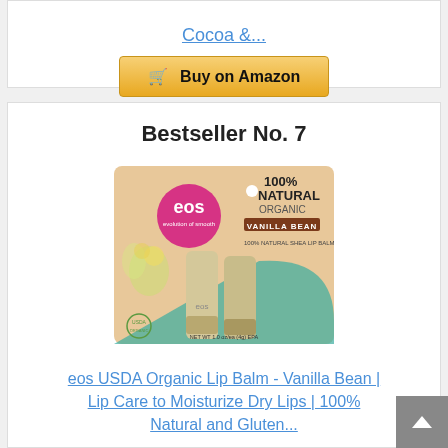Cocoa &...
[Figure (other): Buy on Amazon button with shopping cart icon]
Bestseller No. 7
[Figure (photo): eos USDA Organic Lip Balm Vanilla Bean product packaging showing two lip balm sticks with 100% Natural Organic branding]
eos USDA Organic Lip Balm - Vanilla Bean | Lip Care to Moisturize Dry Lips | 100% Natural and Gluten...